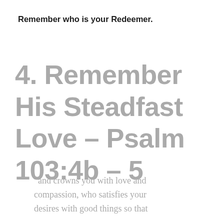Remember who is your Redeemer.
4. Remember His Steadfast Love – Psalm 103:4b – 5
“and crowns you with love and compassion, who satisfies your desires with good things so that